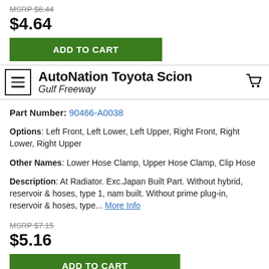MSRP $6.44 (strikethrough)
$4.64
ADD TO CART
[Figure (logo): AutoNation Toyota Scion Gulf Freeway logo with hamburger menu icon on left and shopping cart icon on right]
Part Number: 90466-A0038
Options: Left Front, Left Lower, Left Upper, Right Front, Right Lower, Right Upper
Other Names: Lower Hose Clamp, Upper Hose Clamp, Clip Hose
Description: At Radiator. Exc.Japan Built Part. Without hybrid, reservoir & hoses, type 1, nam built. Without prime plug-in, reservoir & hoses, type... More Info
MSRP $7.15 (strikethrough)
$5.16
ADD TO CART
Performance, Trd Radiator Cap